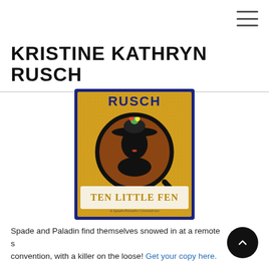≡ (hamburger menu icon)
KRISTINE KATHRYN RUSCH
[Figure (illustration): Book cover for 'Ten Little Fen' by Kristine Kathryn Rusch. Gold glittery background with dark blue border, featuring a circular magnifying glass image of a woman in a large black sombrero with a colorful pom-pom on top. Text at bottom reads 'TEN LITTLE FEN' in gold serif font, subtitle 'A Spade/Paladin Conundrum'. Author name 'RUSCH' visible at top.]
Spade and Paladin find themselves snowed in at a remote sci-fi convention, with a killer on the loose! Get your copy here.